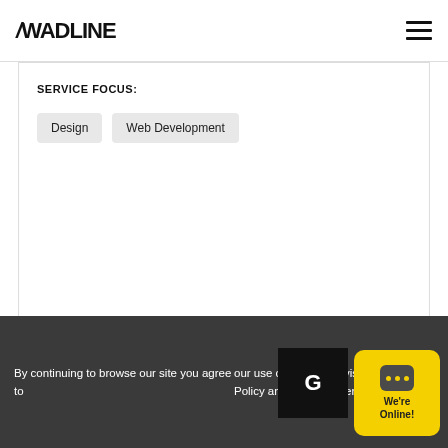/WADLINE
SERVICE FOCUS:
Design
Web Development
profile ›
Globo
United Kingdom / London
By continuing to browse our site you agree to our use of cookies, revised Privacy Policy and Terms of Service